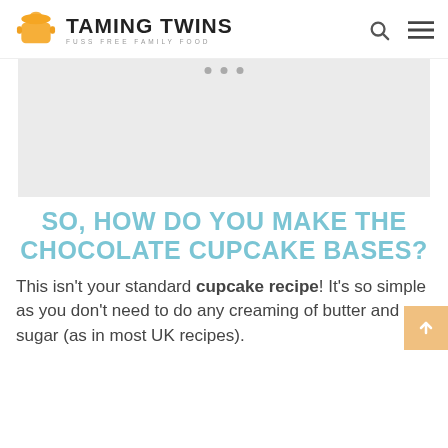TAMING TWINS — FUSS FREE FAMILY FOOD
[Figure (photo): Placeholder image area with slider dots at top, light gray background]
SO, HOW DO YOU MAKE THE CHOCOLATE CUPCAKE BASES?
This isn't your standard cupcake recipe! It's so simple as you don't need to do any creaming of butter and sugar (as in most UK recipes).